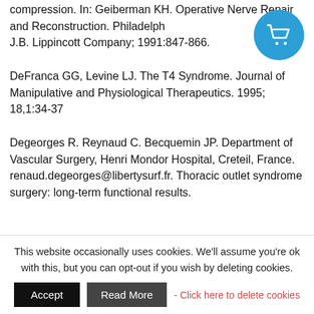compression. In: Geiberman KH. Operative Nerve Repair and Reconstruction. Philadelphia: J.B. Lippincott Company; 1991:847-866.
DeFranca GG, Levine LJ. The T4 Syndrome. Journal of Manipulative and Physiological Therapeutics. 1995; 18,1:34-37
Degeorges R. Reynaud C. Becquemin JP. Department of Vascular Surgery, Henri Mondor Hospital, Creteil, France. renaud.degeorges@libertysurf.fr. Thoracic outlet syndrome surgery: long-term functional results.
This website occasionally uses cookies. We'll assume you're ok with this, but you can opt-out if you wish by deleting cookies.